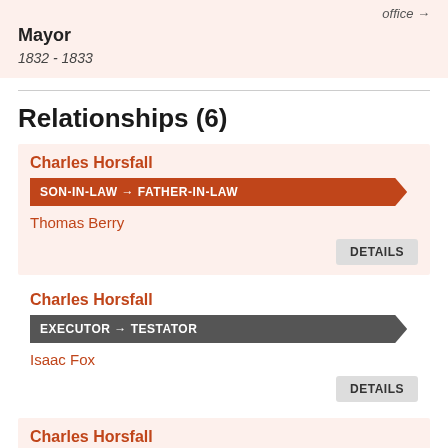office →
Mayor
1832 - 1833
Relationships (6)
Charles Horsfall
SON-IN-LAW → FATHER-IN-LAW
Thomas Berry
DETAILS
Charles Horsfall
EXECUTOR → TESTATOR
Isaac Fox
DETAILS
Charles Horsfall
FIRST COUSINS
Hon. Abraham Hodgson